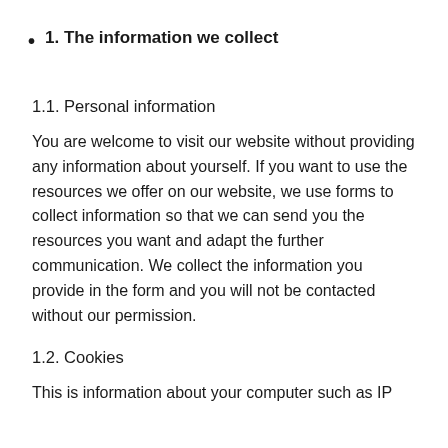1. The information we collect
1.1. Personal information
You are welcome to visit our website without providing any information about yourself. If you want to use the resources we offer on our website, we use forms to collect information so that we can send you the resources you want and adapt the further communication. We collect the information you provide in the form and you will not be contacted without our permission.
1.2. Cookies
This is information about your computer such as IP address, cookies, which browser you use